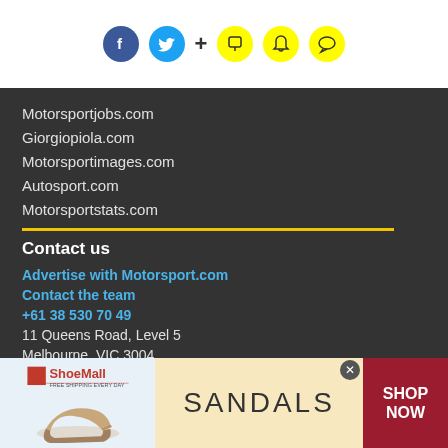[Figure (other): Social media icons: Facebook (blue circle), Twitter (light blue circle), plus sign, bookmark icon (yellow), bell icon (yellow), chat bubble icon (yellow)]
Motorsportjobs.com
Giorgiopiola.com
Motorsportimages.com
Autosport.com
Motorsportstats.com
Contact us
Advertise with Motorsport.com
Contact the team
+61 38 530 70 49
11 Queens Road, Level 5
Melbourne, VIC 3004
[Figure (other): ShoeMall advertisement banner showing sandals/wedge shoes with text SANDALS and SHOP NOW button]